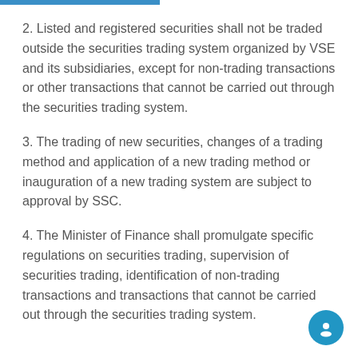2. Listed and registered securities shall not be traded outside the securities trading system organized by VSE and its subsidiaries, except for non-trading transactions or other transactions that cannot be carried out through the securities trading system.
3. The trading of new securities, changes of a trading method and application of a new trading method or inauguration of a new trading system are subject to approval by SSC.
4. The Minister of Finance shall promulgate specific regulations on securities trading, supervision of securities trading, identification of non-trading transactions and transactions that cannot be carried out through the securities trading system.